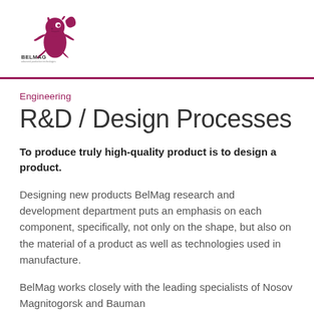BELMAG — logo header with gecko illustration
Engineering
R&D / Design Processes
To produce truly high-quality product is to design a product.
Designing new products BelMag research and development department puts an emphasis on each component, specifically, not only on the shape, but also on the material of a product as well as technologies used in manufacture.
BelMag works closely with the leading specialists of Nosov Magnitogorsk and Bauman